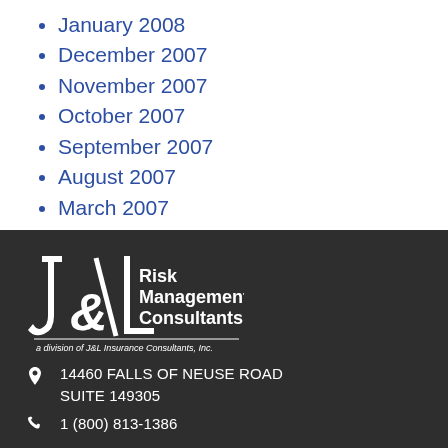January 2008
December 2007
November 2007
October 2007
September 2007
August 2007
March 2007
February 2007
[Figure (logo): J&L Risk Management Consultants logo, a division of J&L Insurance Consultants, Inc.]
14460 FALLS OF NEUSE ROAD SUITE 149305
1 (800) 813-1386